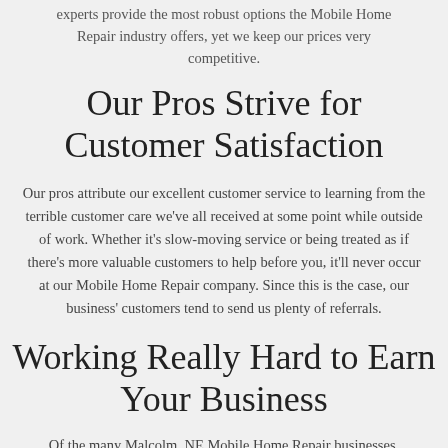experts provide the most robust options the Mobile Home Repair industry offers, yet we keep our prices very competitive.
Our Pros Strive for Customer Satisfaction
Our pros attribute our excellent customer service to learning from the terrible customer care we've all received at some point while outside of work. Whether it's slow-moving service or being treated as if there's more valuable customers to help before you, it'll never occur at our Mobile Home Repair company. Since this is the case, our business' customers tend to send us plenty of referrals.
Working Really Hard to Earn Your Business
Of the many Malcolm, NE Mobile Home Repair businesses,